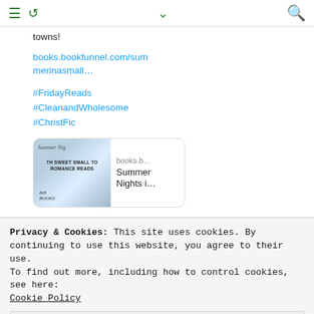≡ ↺ ∨ 🔍
towns!
books.bookfunnel.com/summerinasmall…
#FridayReads
#CleanandWholesome
#ChristFic
[Figure (screenshot): Link preview card showing a book cover for 'Summer Nights' with 'TH SWEET SMALL TO ROMANCE READS' text and books.b... domain label]
Privacy & Cookies: This site uses cookies. By continuing to use this website, you agree to their use.
To find out more, including how to control cookies, see here:
Cookie Policy
Close and accept
on Twitter